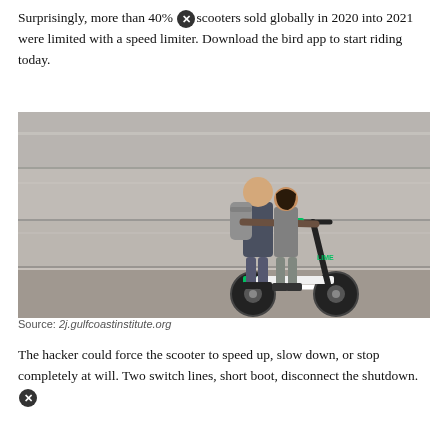Surprisingly, more than 40% [X] scooters sold globally in 2020 into 2021 were limited with a speed limiter. Download the bird app to start riding today.
[Figure (photo): Two people riding a Lime electric scooter together on a street, with motion blur in the background. One person wearing a backpack stands behind the rider.]
Source: 2j.gulfcoastinstitute.org
The hacker could force the scooter to speed up, slow down, or stop completely at will. Two switch lines, short boot, disconnect the shutdown. [X]